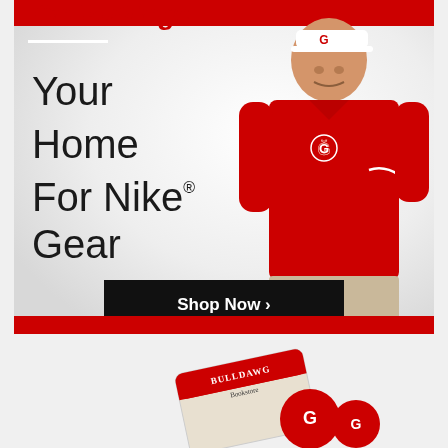[Figure (advertisement): Go Bulldogs advertisement banner featuring a man in a red Georgia Bulldogs polo shirt and white visor. Text reads 'Go Bulldogs', 'Your Home For Nike® Gear', with a black 'Shop Now >' button. Red bar at bottom.]
[Figure (photo): Bottom portion showing a Bulldawg Bookstore card/gift card with Georgia Bulldogs merchandise items.]